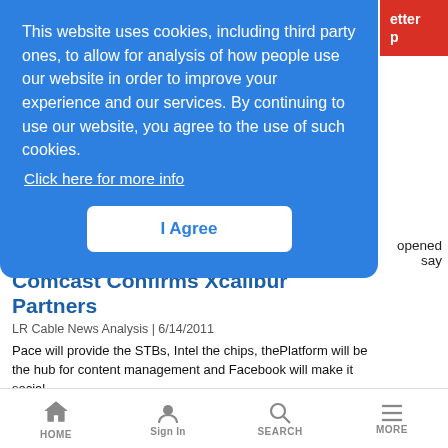etter p
This website uses cookies, including third party ones, to allow for analysis of how people use our website in order to improve your experience and our services. By continuing to use our website, you agree to the use of such cookies. Click here for more info
I Agree
opened say
6 Mbit/s
Comcast Confirms Xcalibur Partners
LR Cable News Analysis | 6/14/2011
Pace will provide the STBs, Intel the chips, thePlatform will be the hub for content management and Facebook will make it social
HOME  Sign In  SEARCH  MORE